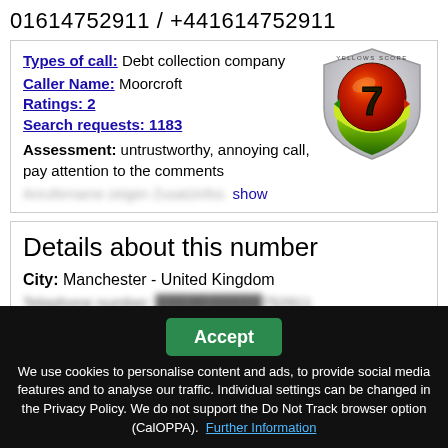01614752911 / +441614752911
Types of call: Debt collection company
Caller Name: Moorcroft
Ratings: 2
Search requests: 1183
Assessment: untrustworthy, annoying call, pay attention to the comments
[Figure (illustration): Yellows Score shield badge with number 7, colored green/yellow/red gradient]
Details about this number
City: Manchester - United Kingdom
Telephone number: [blurred] 752911
International: [blurred] 989...
We use cookies to personalise content and ads, to provide social media features and to analyse our traffic. Individual settings can be changed in the Privacy Policy. We do not support the Do Not Track browser option (CalOPPA). Further Information